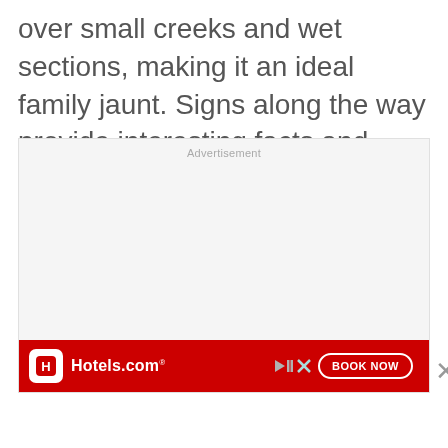over small creeks and wet sections, making it an ideal family jaunt. Signs along the way provide interesting facts and information for trail users.
[Figure (other): Advertisement placeholder box with Hotels.com banner ad at the bottom showing 'BOOK NOW' button, and a close button (X) to the right.]